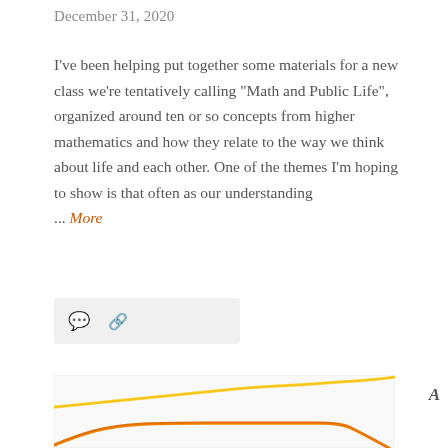December 31, 2020
I've been helping put together some materials for a new class we're tentatively calling "Math and Public Life", organized around ten or so concepts from higher mathematics and how they relate to the way we think about life and each other. One of the themes I'm hoping to show is that often as our understanding ... More
[Figure (other): Icon bar with comment bubble icon and link icon on light gray background]
[Figure (line-chart): Partial line chart showing two lines: a yellow-golden line trending upward gradually, and an orange line that rises then falls sharply at the right edge. Labeled 'A' on the right side.]